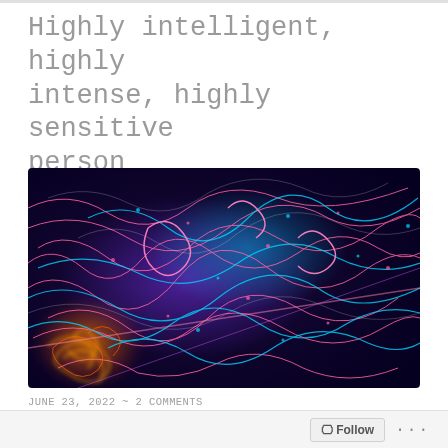Highly intelligent, highly intense, highly sensitive person
[Figure (illustration): Abstract colorful neural network visualization with pink, cyan, purple and orange light trails on dark blue background, resembling neurons or electric sparks]
JUNE 23, 2022  ~  2 COMMENTS
When extra intelligence, intensity and sensitivity cross